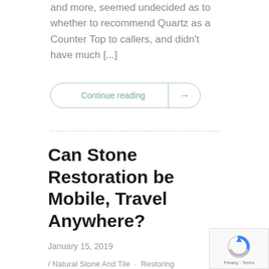and more, seemed undecided as to whether to recommend Quartz as a Counter Top to callers, and didn't have much [...]
Continue reading →
Can Stone Restoration be Mobile, Travel Anywhere?
January 15, 2019
/ Natural Stone And Tile · Restoring